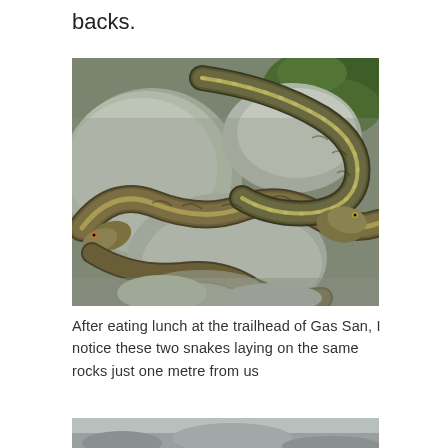backs.
[Figure (photo): Two garter snakes coiled together on gray rocks, with green moss visible in the background. Both snakes have striped patterning and are intertwined on the rocky surface.]
After eating lunch at the trailhead of Gas San, I notice these two snakes laying on the same rocks just one metre from us
[Figure (photo): Partial view of another outdoor nature scene, cropped at bottom of page.]